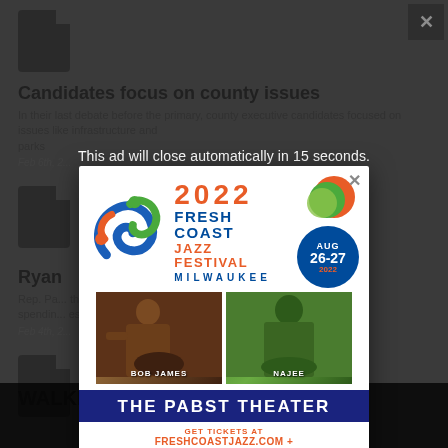Candidates focus on county issues
In their last debate before the primary, county executive candidates focused on issues like infrastructure, parks and parks
Feb 6th, 2...
Ryan
Rep. Pa... through spending... es.
Feb 4th, 2...
WALKER
This ad will close automatically in 15 seconds.
[Figure (illustration): Fresh Coast Jazz Festival 2022 advertisement. Shows the festival logo with a swirl design, '2022 FRESH COAST JAZZ FESTIVAL MILWAUKEE' text, AUG 26-27 2022 badge, photos of performers Bob James and Najee, THE PABST THEATER banner, and ticket URL freshcoastjazz.com + pabsttheatergroup.com]
Tired of seeing banner ads on Urban Milwaukee? Become a member for $9/month.